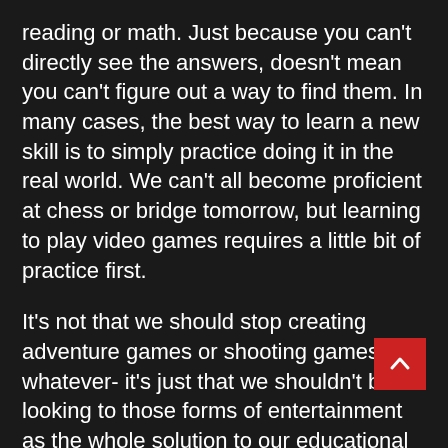reading or math. Just because you can't directly see the answers, doesn't mean you can't figure out a way to find them. In many cases, the best way to learn a new skill is to simply practice doing it in the real world. We can't all become proficient at chess or bridge tomorrow, but learning to play video games requires a little bit of practice first.
It's not that we should stop creating adventure games or shooting games or whatever- it's just that we shouldn't be looking to those forms of entertainment as the whole solution to our educational problems. Sure, it might be fun to create our own little characters, meet new people, do some adventure, and explore the world through the lens of a new level. Yes, that's part of the pleasure of role-playing, anyway- but to call that kind of gam... waste of time (and, let's face it, most Americans don't play such games very often) is to set yourself up for